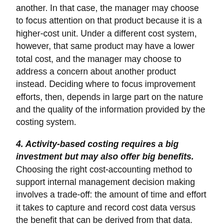another. In that case, the manager may choose to focus attention on that product because it is a higher-cost unit. Under a different cost system, however, that same product may have a lower total cost, and the manager may choose to address a concern about another product instead. Deciding where to focus improvement efforts, then, depends in large part on the nature and the quality of the information provided by the costing system.
4. Activity-based costing requires a big investment but may also offer big benefits. Choosing the right cost-accounting method to support internal management decision making involves a trade-off: the amount of time and effort it takes to capture and record cost data versus the benefit that can be derived from that data. This is a consideration for any company that uses activity-based costing (ABC), a structured method for associating costs with business activities that continues to grow in popularity. ABC can more accurately tie the costs of activities conducted in